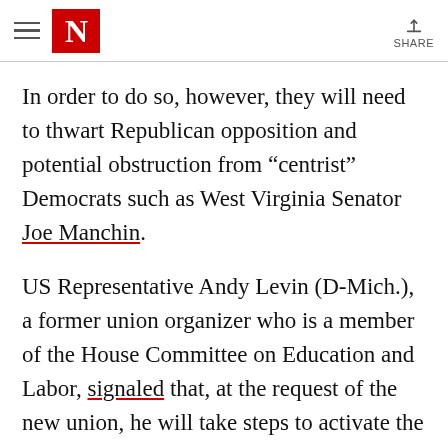N  SHARE
In order to do so, however, they will need to thwart Republican opposition and potential obstruction from “centrist” Democrats such as West Virginia Senator Joe Manchin.
US Representative Andy Levin (D-Mich.), a former union organizer who is a member of the House Committee on Education and Labor, signaled that, at the request of the new union, he will take steps to activate the necessary provisions of the Congressional Accountability Act so that the organizing drive can formally be Washington Caucus’